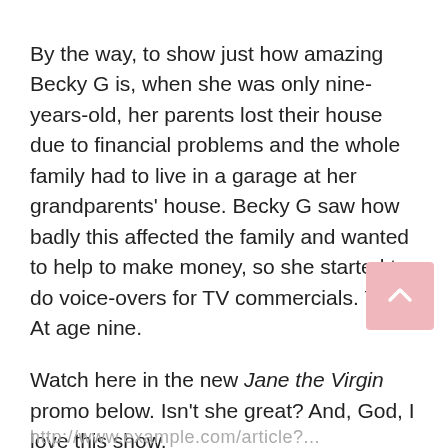By the way, to show just how amazing Becky G is, when she was only nine-years-old, her parents lost their house due to financial problems and the whole family had to live in a garage at her grandparents' house. Becky G saw how badly this affected the family and wanted to help to make money, so she started to do voice-overs for TV commercials. Yes. At age nine.
Watch here in the new Jane the Virgin promo below. Isn't she great? And, God, I love this show.